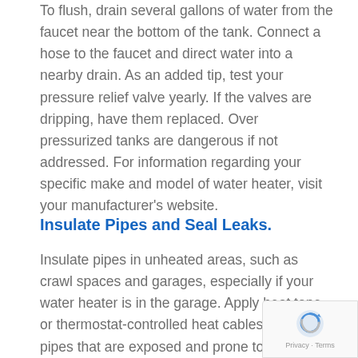To flush, drain several gallons of water from the faucet near the bottom of the tank. Connect a hose to the faucet and direct water into a nearby drain. As an added tip, test your pressure relief valve yearly. If the valves are dripping, have them replaced. Over pressurized tanks are dangerous if not addressed. For information regarding your specific make and model of water heater, visit your manufacturer's website.
Insulate Pipes and Seal Leaks.
Insulate pipes in unheated areas, such as crawl spaces and garages, especially if your water heater is in the garage. Apply heat tape or thermostat-controlled heat cables around pipes that are exposed and prone to freezing. Seal leaks around doors and windows to